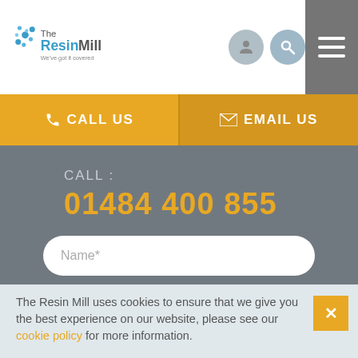[Figure (logo): The Resin Mill logo with tagline 'We've got it covered']
CALL US   EMAIL US
CALL : 01484 400 855
Name*
Email*
The Resin Mill uses cookies to ensure that we give you the best experience on our website, please see our cookie policy for more information.